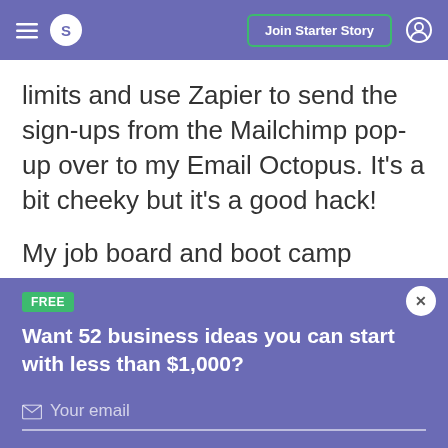≡ S  Join Starter Story  👤
limits and use Zapier to send the sign-ups from the Mailchimp pop-up over to my Email Octopus. It's a bit cheeky but it's a good hack!
My job board and boot camp directory are
FREE
Want 52 business ideas you can start with less than $1,000?
Your email
Send Now